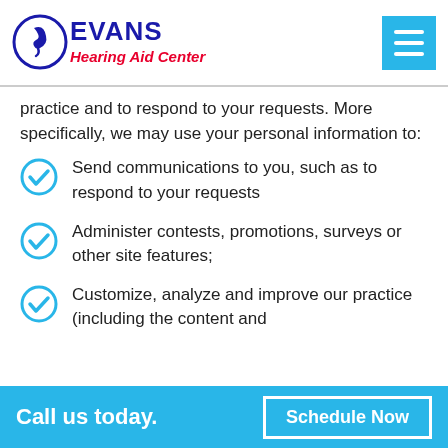Evans Hearing Aid Center
practice and to respond to your requests. More specifically, we may use your personal information to:
Send communications to you, such as to respond to your requests
Administer contests, promotions, surveys or other site features;
Customize, analyze and improve our practice (including the content and
Call us today.  Schedule Now